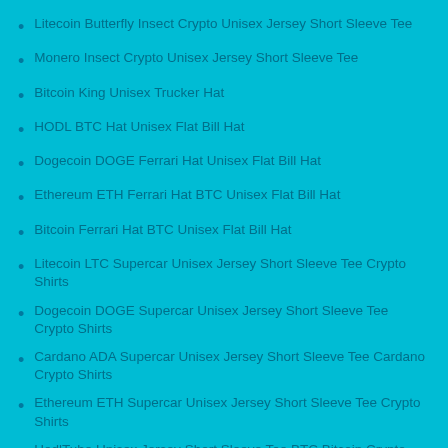Litecoin Butterfly Insect Crypto Unisex Jersey Short Sleeve Tee
Monero Insect Crypto Unisex Jersey Short Sleeve Tee
Bitcoin King Unisex Trucker Hat
HODL BTC Hat Unisex Flat Bill Hat
Dogecoin DOGE Ferrari Hat Unisex Flat Bill Hat
Ethereum ETH Ferrari Hat BTC Unisex Flat Bill Hat
Bitcoin Ferrari Hat BTC Unisex Flat Bill Hat
Litecoin LTC Supercar Unisex Jersey Short Sleeve Tee Crypto Shirts
Dogecoin DOGE Supercar Unisex Jersey Short Sleeve Tee Crypto Shirts
Cardano ADA Supercar Unisex Jersey Short Sleeve Tee Cardano Crypto Shirts
Ethereum ETH Supercar Unisex Jersey Short Sleeve Tee Crypto Shirts
HodlTube Unisex Jersey Short Sleeve Tee BTC Bitcoin Crypto Shirts
Nodl Jersey Short Sleeve Tee BTC Bitcoin Crypto Shirts
Legbtc Jersey Short Sleeve Tee BTC Bitcoin Crypto Shirts
Goog-Hodler Unisex Jersey Short Sleeve Tee BTC Bitcoin Crypto